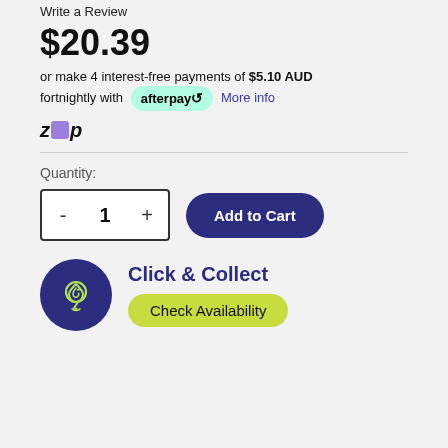Write a Review
$20.39
or make 4 interest-free payments of $5.10 AUD fortnightly with afterpay More info
[Figure (logo): Zip payment logo with purple square between z and p]
Quantity:
[Figure (other): Quantity selector with minus, 1, plus buttons and Add to Cart button]
[Figure (other): Click & Collect section with dark blue circular icon showing a leaf/location pin, title Click & Collect and Check Availability button]